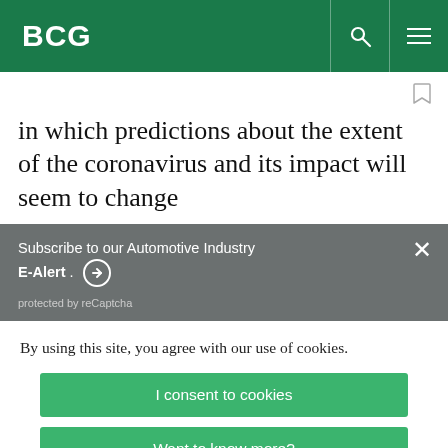BCG
in which predictions about the extent of the coronavirus and its impact will seem to change
Subscribe to our Automotive Industry E-Alert . ➔
protected by reCaptcha
By using this site, you agree with our use of cookies.
I consent to cookies
Want to know more?
Read our Cookie Policy